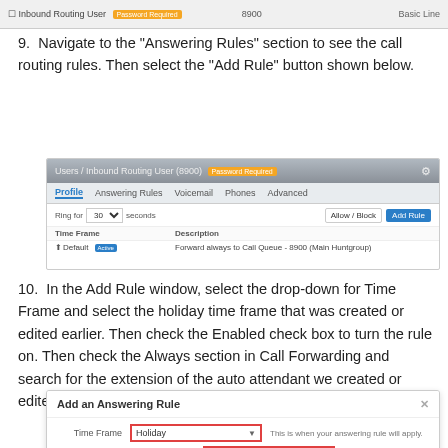[Figure (screenshot): Top strip showing Inbound Routing User row with orange 'Password Required' badge]
9.  Navigate to the "Answering Rules" section to see the call routing rules. Then select the "Add Rule" button shown below.
[Figure (screenshot): Screenshot of Users / Inbound Routing User (8900) page showing Answering Rules tab with Add Rule button and Default Active rule forwarding to Call Queue - 8900]
10.  In the Add Rule window, select the drop-down for Time Frame and select the holiday time frame that was created or edited earlier. Then check the Enabled check box to turn the rule on. Then check the Always section in Call Forwarding and search for the extension of the auto attendant we created or edited above.
[Figure (screenshot): Add an Answering Rule dialog with Time Frame set to Holiday (red border) and Enabled checkbox checked (red border)]